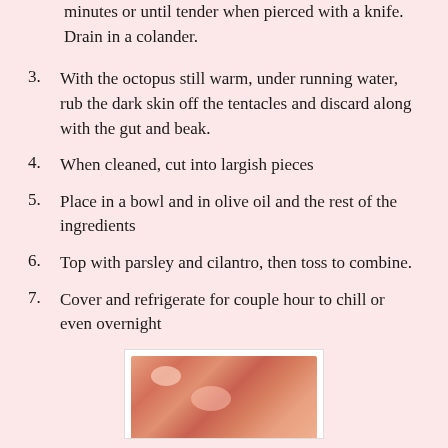minutes or until tender when pierced with a knife. Drain in a colander.
3.  With the octopus still warm, under running water, rub the dark skin off the tentacles and discard along with the gut and beak.
4.  When cleaned, cut into largish pieces
5.  Place in a bowl and in olive oil and the rest of the ingredients
6.  Top with parsley and cilantro, then toss to combine.
7.  Cover and refrigerate for couple hour to chill or even overnight
[Figure (photo): Photo of cooked octopus pieces, showing pinkish-orange octopus chunks on a plate]